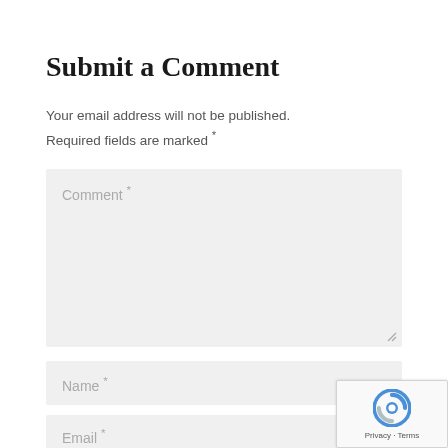Submit a Comment
Your email address will not be published. Required fields are marked *
[Figure (screenshot): Comment text area input field with placeholder text 'Comment *' and resize handle]
[Figure (screenshot): Name input field with placeholder text 'Name *']
[Figure (screenshot): Email input field with placeholder text 'Email *']
[Figure (logo): reCAPTCHA badge with Privacy and Terms links]